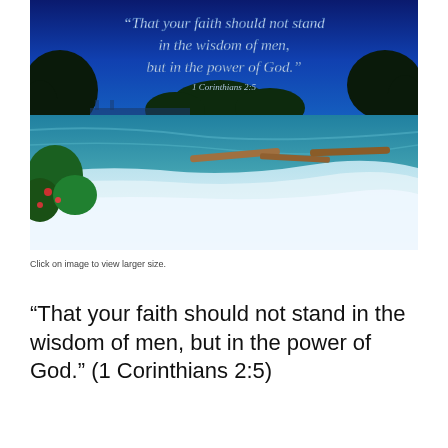[Figure (photo): A scenic river rapids photo with rushing white water, logs in the river, lush green trees on the banks, and a twilight blue sky. Overlaid white italic text reads: 'That your faith should not stand in the wisdom of men, but in the power of God.' with citation '1 Corinthians 2:5' below.]
Click on image to view larger size.
“That your faith should not stand in the wisdom of men, but in the power of God.” (1 Corinthians 2:5)